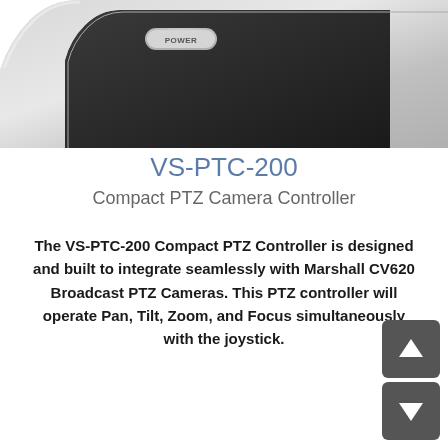[Figure (photo): Partial view of a VS-PTC-200 Compact PTZ Camera Controller device, showing the upper-left corner with a silver/chrome body and a black POWER button]
VS-PTC-200
Compact PTZ Camera Controller
The VS-PTC-200 Compact PTZ Controller is designed and built to integrate seamlessly with Marshall CV620 Broadcast PTZ Cameras. This PTZ controller will operate Pan, Tilt, Zoom, and Focus simultaneously with the joystick.
[Figure (illustration): Navigation up and down arrow buttons in dark gray rounded squares at the bottom right corner of the page]